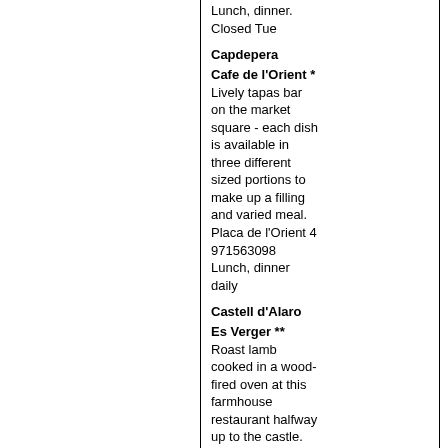Lunch, dinner. Closed Tue
Capdepera
Cafe de l'Orient * Lively tapas bar on the market square - each dish is available in three different sized portions to make up a filling and varied meal. Placa de l'Orient 4 971563098 Lunch, dinner daily
Castell d'Alaro
Es Verger ** Roast lamb cooked in a wood-fired oven at this farmhouse restaurant halfway up to the castle. On the way to Castell d'Alaro 971510002 Lunch, dinner. Closed Mon
Deia
Ca'n Quet ***